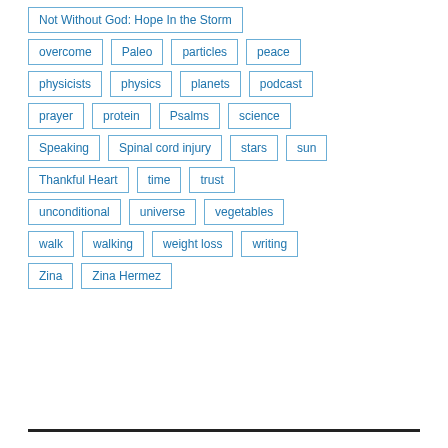Not Without God: Hope In the Storm
overcome
Paleo
particles
peace
physicists
physics
planets
podcast
prayer
protein
Psalms
science
Speaking
Spinal cord injury
stars
sun
Thankful Heart
time
trust
unconditional
universe
vegetables
walk
walking
weight loss
writing
Zina
Zina Hermez